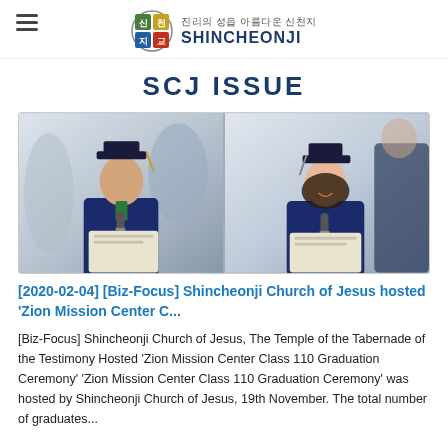진리의 성읍 아름다운 신천지 SHINCHEONJI
SCJ ISSUE
[Figure (photo): Two graduation ceremony photos side by side: left shows a young man in blue graduation cap and gown speaking into a microphone, right shows a young woman in blue graduation cap and gown speaking into a microphone]
[2020-02-04] [Biz-Focus] Shincheonji Church of Jesus hosted 'Zion Mission Center C...
[Biz-Focus] Shincheonji Church of Jesus, The Temple of the Tabernade of the Testimony Hosted 'Zion Mission Center Class 110 Graduation Ceremony' 'Zion Mission Center Class 110 Graduation Ceremony' was hosted by Shincheonji Church of Jesus, 19th November. The total number of graduates...